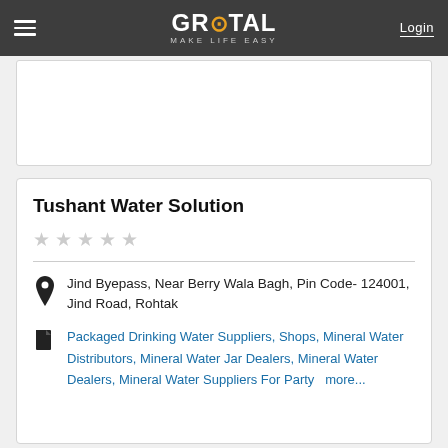GROTAL MAKE LIFE EASY | Login
[Figure (other): Advertisement placeholder box (white rectangle)]
Tushant Water Solution
★★★★★ (empty stars, no rating)
Jind Byepass, Near Berry Wala Bagh, Pin Code- 124001, Jind Road, Rohtak
Packaged Drinking Water Suppliers, Shops, Mineral Water Distributors, Mineral Water Jar Dealers, Mineral Water Dealers, Mineral Water Suppliers For Party  more...